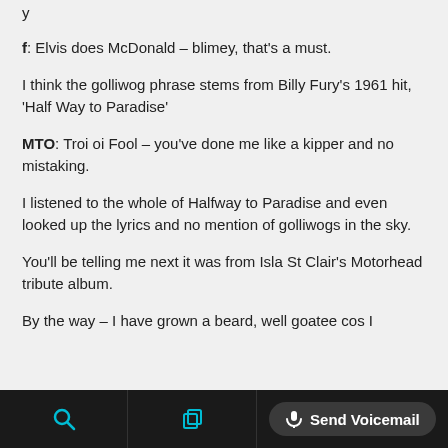f: Elvis does McDonald – blimey, that's a must.
I think the golliwog phrase stems from Billy Fury's 1961 hit, 'Half Way to Paradise'
MTO: Troi oi Fool – you've done me like a kipper and no mistaking.
I listened to the whole of Halfway to Paradise and even looked up the lyrics and no mention of golliwogs in the sky.
You'll be telling me next it was from Isla St Clair's Motorhead tribute album.
By the way – I have grown a beard, well goatee cos I
Send Voicemail